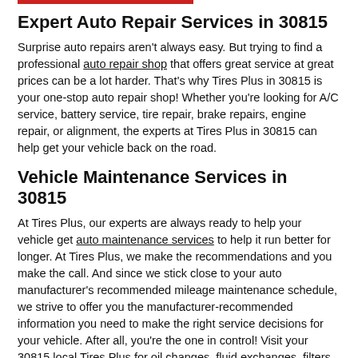Expert Auto Repair Services in 30815
Surprise auto repairs aren't always easy. But trying to find a professional auto repair shop that offers great service at great prices can be a lot harder. That's why Tires Plus in 30815 is your one-stop auto repair shop! Whether you're looking for A/C service, battery service, tire repair, brake repairs, engine repair, or alignment, the experts at Tires Plus in 30815 can help get your vehicle back on the road.
Vehicle Maintenance Services in 30815
At Tires Plus, our experts are always ready to help your vehicle get auto maintenance services to help it run better for longer. At Tires Plus, we make the recommendations and you make the call. And since we stick close to your auto manufacturer's recommended mileage maintenance schedule, we strive to offer you the manufacturer-recommended information you need to make the right service decisions for your vehicle. After all, you're the one in control! Visit your 30815 local Tires Plus for oil changes, fluid exchanges, filters, wiper blades, and tune-up services.